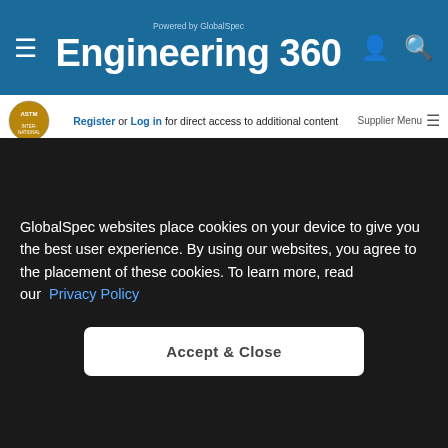Engineering 360 - Powered by GlobalSpec
Register or Log in for direct access to additional content
Supplier Menu
provides, technical service and support and 24/7 emergency response.
Watch Now
[Figure (photo): Industrial machinery advertisement image with text 'WE'RE IN YOUR INDUSTRY']
GlobalSpec websites place cookies on your device to give you the best user experience. By using our websites, you agree to the placement of these cookies. To learn more, read our Privacy Policy
Accept & Close